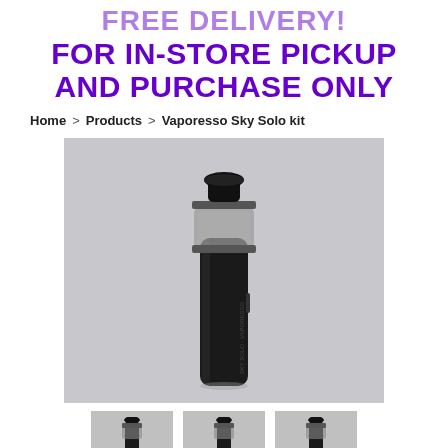FREE DELIVERY! FOR IN-STORE PICKUP AND PURCHASE ONLY
Home > Products > Vaporesso Sky Solo kit
[Figure (photo): Product photo of Vaporesso Sky Solo kit — a black cylindrical vape pen/mod with a transparent glass tank section near the top and a black mouthpiece, standing upright against a light grey background. The word VAPORESSO is visible on the device body.]
[Figure (photo): Thumbnail 1: Small product image of Vaporesso Sky Solo kit from a similar angle]
[Figure (photo): Thumbnail 2: Small product image of Vaporesso Sky Solo kit from a similar angle]
[Figure (photo): Thumbnail 3: Small product image of Vaporesso Sky Solo kit from a slightly different angle]